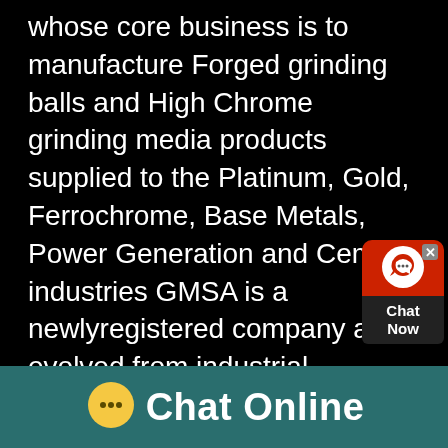whose core business is to manufacture Forged grinding balls and High Chrome grinding media products supplied to the Platinum, Gold, Ferrochrome, Base Metals, Power Generation and Cement industries GMSA is a newlyregistered company and evolved from industrial Company, Scaw Metals Group TheABOUT GMSA grinding mediaSA Grinding Wheels Our ability to offer individually tailored products manufactured for each customers unique requirements and covering all resin and vitrified bond types makes us a preferred manufacturer across South Africa We only utilize the latest available materials to ensure that our products offers you cooler cutting and high strength for high speed machinedSA Grinding
[Figure (other): Chat Now widget button with red background, white headset icon, and dark bottom section reading 'Chat Now']
[Figure (other): Footer bar with teal background showing a yellow speech bubble icon with ellipsis and white bold text reading 'Chat Online']